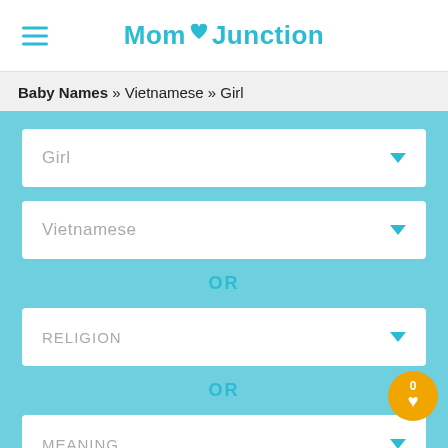Mom Junction
Baby Names » Vietnamese » Girl
Girl (dropdown)
Vietnamese (dropdown)
OR
RELIGION (dropdown)
OR
MEANING (dropdown)